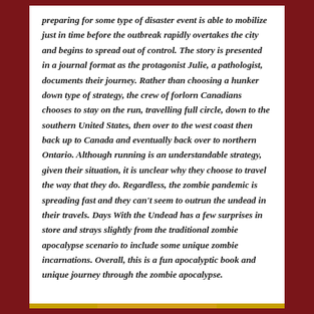preparing for some type of disaster event is able to mobilize just in time before the outbreak rapidly overtakes the city and begins to spread out of control. The story is presented in a journal format as the protagonist Julie, a pathologist, documents their journey. Rather than choosing a hunker down type of strategy, the crew of forlorn Canadians chooses to stay on the run, travelling full circle, down to the southern United States, then over to the west coast then back up to Canada and eventually back over to northern Ontario. Although running is an understandable strategy, given their situation, it is unclear why they choose to travel the way that they do. Regardless, the zombie pandemic is spreading fast and they can't seem to outrun the undead in their travels. Days With the Undead has a few surprises in store and strays slightly from the traditional zombie apocalypse scenario to include some unique zombie incarnations. Overall, this is a fun apocalyptic book and unique journey through the zombie apocalypse.